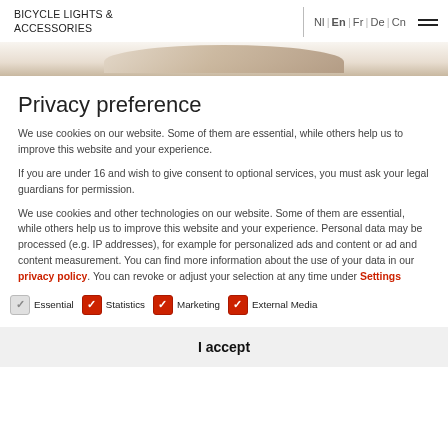BICYCLE LIGHTS & ACCESSORIES | Nl | En | Fr | De | Cn
[Figure (photo): Partial product image showing bicycle light/accessory component with beige/tan color at top of page]
Privacy preference
We use cookies on our website. Some of them are essential, while others help us to improve this website and your experience.
If you are under 16 and wish to give consent to optional services, you must ask your legal guardians for permission.
We use cookies and other technologies on our website. Some of them are essential, while others help us to improve this website and your experience. Personal data may be processed (e.g. IP addresses), for example for personalized ads and content or ad and content measurement. You can find more information about the use of your data in our privacy policy. You can revoke or adjust your selection at any time under Settings.
Essential
Statistics
Marketing
External Media
I accept